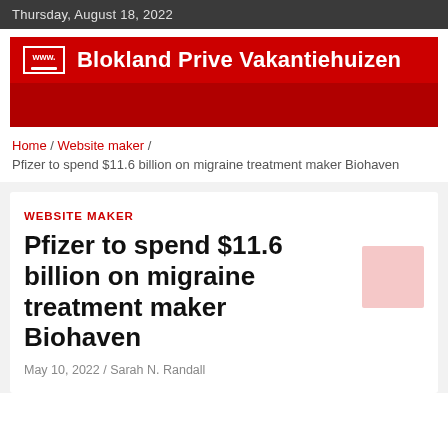Thursday, August 18, 2022
[Figure (logo): Blokland Prive Vakantiehuizen website logo banner with red background, laptop icon with www. label, and bold white text]
[Figure (other): Red decorative stripe/banner area]
Home / Website maker / Pfizer to spend $11.6 billion on migraine treatment maker Biohaven
WEBSITE MAKER
Pfizer to spend $11.6 billion on migraine treatment maker Biohaven
May 10, 2022 / Sarah N. Randall